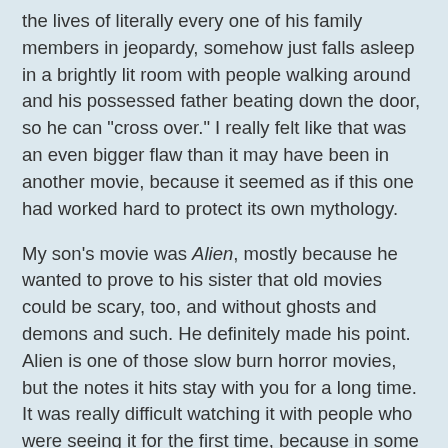the lives of literally every one of his family members in jeopardy, somehow just falls asleep in a brightly lit room with people walking around and his possessed father beating down the door, so he can "cross over." I really felt like that was an even bigger flaw than it may have been in another movie, because it seemed as if this one had worked hard to protect its own mythology.
My son's movie was Alien, mostly because he wanted to prove to his sister that old movies could be scary, too, and without ghosts and demons and such. He definitely made his point. Alien is one of those slow burn horror movies, but the notes it hits stay with you for a long time. It was really difficult watching it with people who were seeing it for the first time, because in some ways it's a whole different movie the second or third watch. I kept telling them I couldn't answer any questions, because I wanted them to get the full experience. When you think of all of the really deep seated human fears that a film can exploit to scare us, Alien concept verse just about every one of them. Think about it - body invasion, sexual violation, evils of technology, xenophobia, darkness and sterility, nakedness, isolation, the reprisal of